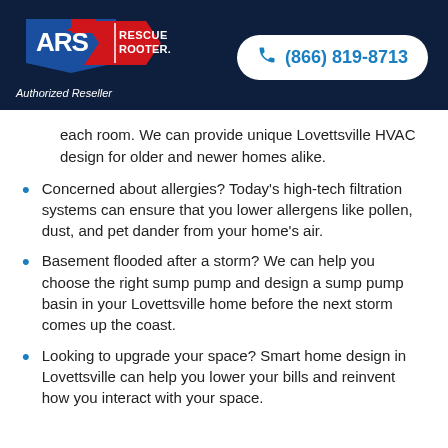ARS Rescue Rooter – Authorized Reseller | (866) 819-8713
each room. We can provide unique Lovettsville HVAC design for older and newer homes alike.
Concerned about allergies? Today's high-tech filtration systems can ensure that you lower allergens like pollen, dust, and pet dander from your home's air.
Basement flooded after a storm? We can help you choose the right sump pump and design a sump pump basin in your Lovettsville home before the next storm comes up the coast.
Looking to upgrade your space? Smart home design in Lovettsville can help you lower your bills and reinvent how you interact with your space.